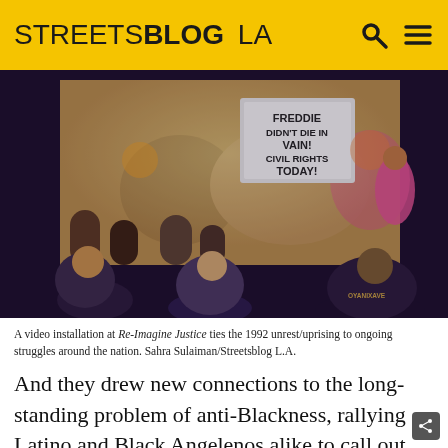STREETSBLOG LA
[Figure (photo): Audience members watch a projected video screen displaying protest footage with a sign reading 'FREDDIE DIDN'T DIE IN VAIN! CIVIL RIGHTS TODAY!' at a Re-Imagine Justice event.]
A video installation at Re-Imagine Justice ties the 1992 unrest/uprising to ongoing struggles around the nation. Sahra Sulaiman/Streetsblog L.A.
And they drew new connections to the long-standing problem of anti-Blackness, rallying Latino and Black Angelenos alike to call out the criminalization of Black bodies and of Black children, in particular.